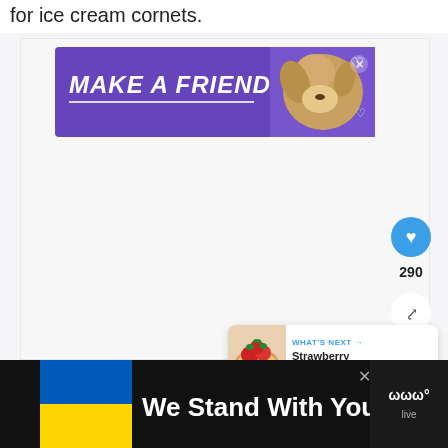for ice cream cornets.
[Figure (illustration): Purple advertisement banner reading 'MAKE A FRIEND' with a dog image and heart symbols, with a close X button in top right corner]
[Figure (infographic): Blue circular heart/like button showing 290 likes, and a share button below it]
[Figure (infographic): WHAT'S NEXT card showing a strawberry tart image with text 'Strawberry Tart | Tarte a...']
[Figure (illustration): Bottom advertisement bar on black background with Ukraine flag (blue and yellow), text 'We Stand With You', a close button, and a logo on the right side]